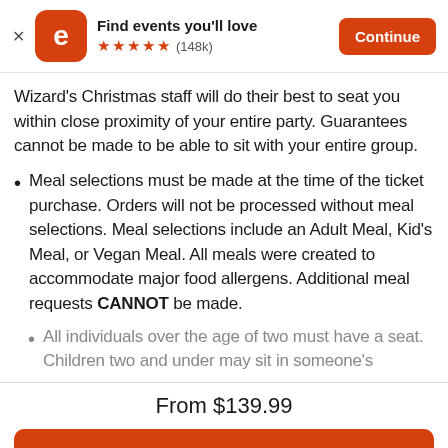[Figure (screenshot): Eventbrite app banner with logo, star rating, and Continue button]
Wizard's Christmas staff will do their best to seat you within close proximity of your entire party. Guarantees cannot be made to be able to sit with your entire group.
Meal selections must be made at the time of the ticket purchase. Orders will not be processed without meal selections. Meal selections include an Adult Meal, Kid's Meal, or Vegan Meal. All meals were created to accommodate major food allergens. Additional meal requests CANNOT be made.
All individuals over the age of two must have a seat. Children two and under may sit in someone's
From $139.99
Tickets